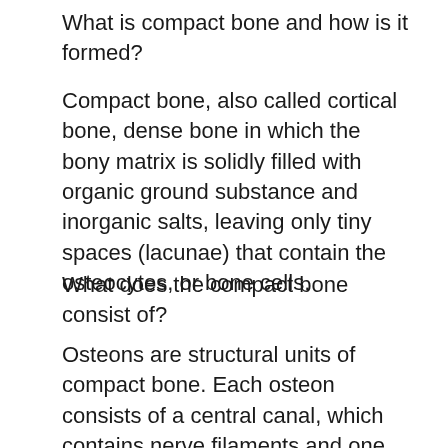What is compact bone and how is it formed?
Compact bone, also called cortical bone, dense bone in which the bony matrix is solidly filled with organic ground substance and inorganic salts, leaving only tiny spaces (lacunae) that contain the osteocytes, or bone cells.
What does the compact bone consist of?
Osteons are structural units of compact bone. Each osteon consists of a central canal, which contains nerve filaments and one or two blood vessels, surrounded by lamellae. Lacunae, small chambers containing osteocytes, are arranged